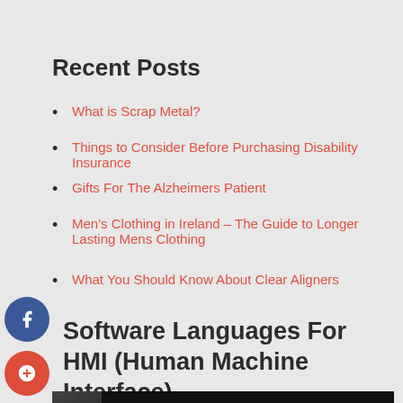Recent Posts
What is Scrap Metal?
Things to Consider Before Purchasing Disability Insurance
Gifts For The Alzheimers Patient
Men's Clothing in Ireland – The Guide to Longer Lasting Mens Clothing
What You Should Know About Clear Aligners
Software Languages For HMI (Human Machine Interface)
[Figure (screenshot): Video thumbnail showing a person with 'Software Languages...' text and a vertical dots menu icon on a dark background]